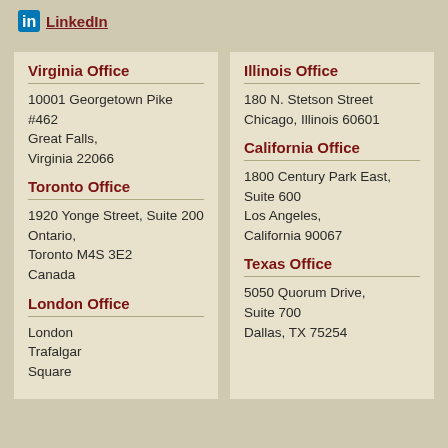LinkedIn
Virginia Office
10001 Georgetown Pike #462 Great Falls, Virginia 22066
Toronto Office
1920 Yonge Street, Suite 200 Ontario, Toronto M4S 3E2 Canada
London Office
London Trafalgar Square
Illinois Office
180 N. Stetson Street Chicago, Illinois 60601
California Office
1800 Century Park East, Suite 600 Los Angeles, California 90067
Texas Office
5050 Quorum Drive, Suite 700 Dallas, TX 75254